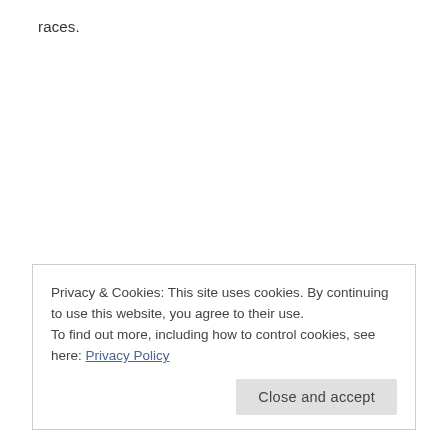races.
Privacy & Cookies: This site uses cookies. By continuing to use this website, you agree to their use.
To find out more, including how to control cookies, see here: Privacy Policy
Close and accept